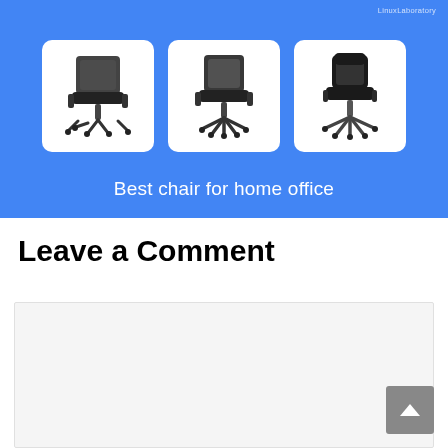[Figure (illustration): Blue banner image showing three office/desk chairs on white rounded-corner cards, with text 'Best chair for home office' and 'LinuxLaboratory' watermark in top right]
Leave a Comment